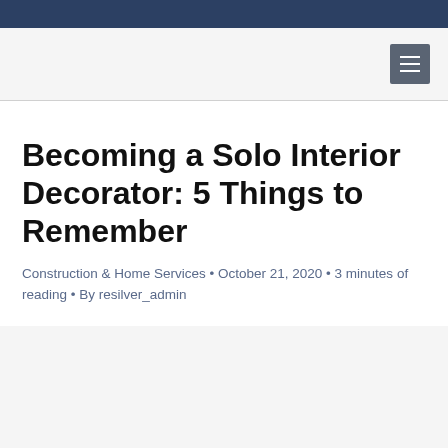Becoming a Solo Interior Decorator: 5 Things to Remember
Construction & Home Services • October 21, 2020 • 3 minutes of reading • By resilver_admin